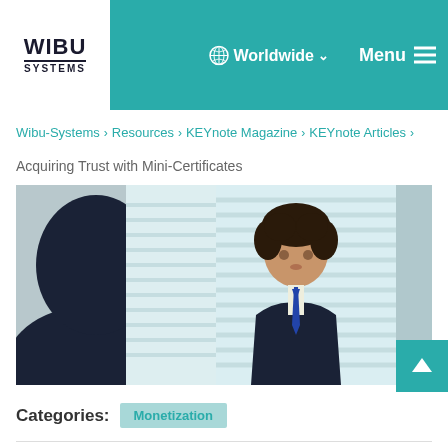WIBU SYSTEMS | Worldwide | Menu
Wibu-Systems › Resources › KEYnote Magazine › KEYnote Articles ›
Acquiring Trust with Mini-Certificates
[Figure (photo): Two people in suits, one is a child wearing a suit and tie looking upward, standing in an office environment with blinds in background]
Categories: Monetization